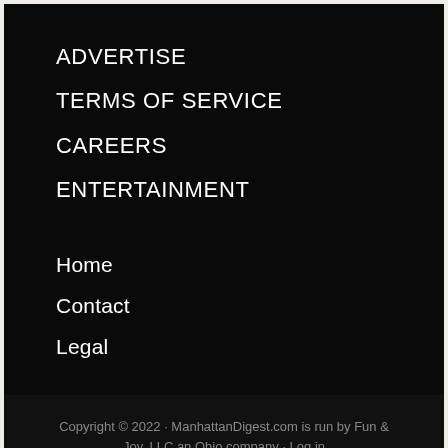ADVERTISE
TERMS OF SERVICE
CAREERS
ENTERTAINMENT
Home
Contact
Legal
Copyright © 2022 · ManhattanDigest.com is run by Fun & Joy, LLC an Ohio company · Log in